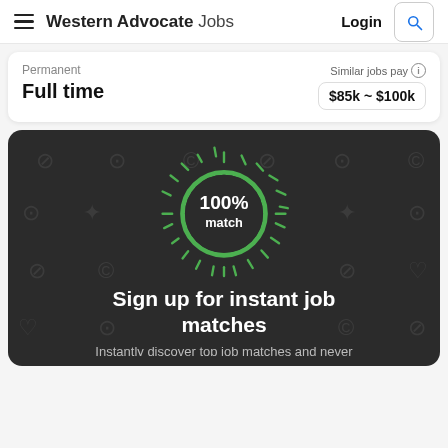Western Advocate Jobs — Login
Permanent
Full time
Similar jobs pay $85k ~ $100k
[Figure (infographic): Dark card with 100% match circular badge surrounded by radiating green tick marks, background shows faint job-related icons]
Sign up for instant job matches
Instantly discover top job matches and never